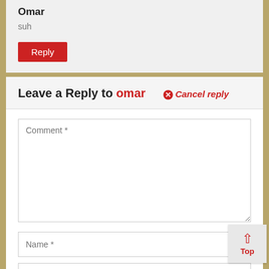Omar
suh
Reply
Leave a Reply to omar  ✕ Cancel reply
Comment *
Name *
Email Address *